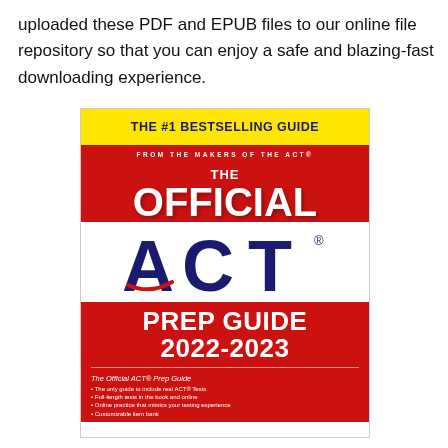uploaded these PDF and EPUB files to our online file repository so that you can enjoy a safe and blazing-fast downloading experience.
[Figure (photo): Book cover of 'The Official ACT Prep Guide 2022-2023', the #1 bestselling guide from the makers of the ACT, with yellow header bar, red background, white ACT logo, and bullet points listing features.]